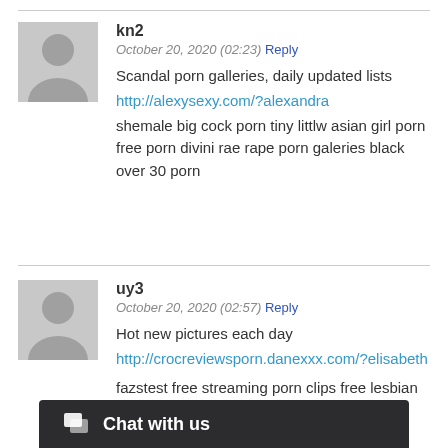kn2
October 20, 2020 (02:23) Reply
Scandal porn galleries, daily updated lists
http://alexysexy.com/?alexandra
shemale big cock porn tiny littlw asian girl porn free porn divini rae rape porn galeries black over 30 porn
uy3
October 20, 2020 (02:57) Reply
Hot new pictures each day
http://crocreviewsporn.danexxx.com/?elisabeth
fazstest free streaming porn clips free lesbian por...
Chat with us